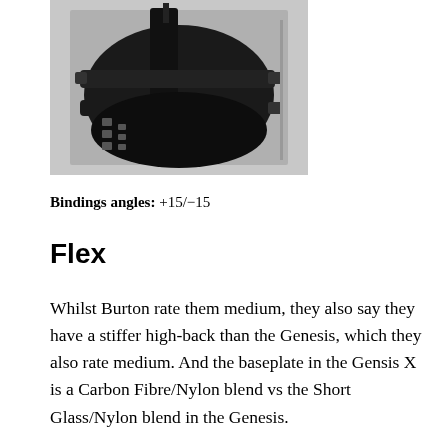[Figure (photo): Black and white photograph of a snowboard binding viewed from the front/side angle, showing the highback, straps, and baseplate against a light background.]
Bindings angles: +15/−15
Flex
Whilst Burton rate them medium, they also say they have a stiffer high-back than the Genesis, which they also rate medium. And the baseplate in the Gensis X is a Carbon Fibre/Nylon blend vs the Short Glass/Nylon blend in the Genesis.